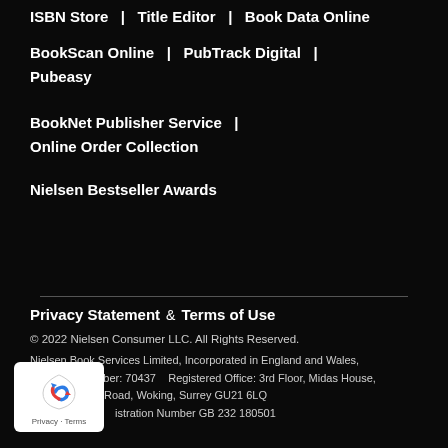ISBN Store  |  Title Editor  |  Book Data Online
BookScan Online  |  PubTrack Digital  |  Pubeasy
BookNet Publisher Service  |  Online Order Collection
Nielsen Bestseller Awards
Privacy Statement  &  Terms of Use
© 2022 Nielsen Consumer LLC. All Rights Reserved.
Nielsen Book Services Limited, Incorporated in England and Wales,
Company Number: 70437    Registered Office: 3rd Floor, Midas House,
62 Goldsworth Road, Woking, Surrey GU21 6LQ
VAT Registration Number GB 232 180501